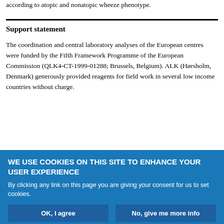according to atopic and nonatopic wheeze phenotype.
Support statement
The coordination and central laboratory analyses of the European centres were funded by the Fifth Framework Programme of the European Commission (QLK4-CT-1999-01288; Brussels, Belgium). ALK (Hørsholm, Denmark) generously provided reagents for field work in several low income countries without charge.
Statement of interest
WE USE COOKIES ON THIS SITE TO ENHANCE YOUR USER EXPERIENCE
By clicking any link on this page you are giving your consent for us to set cookies.